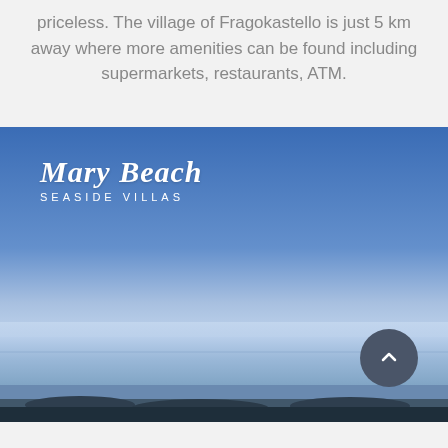priceless. The village of Fragokastello is just 5 km away where more amenities can be found including supermarkets, restaurants, ATM.
[Figure (photo): Seaside landscape with calm blue sea and clear blue sky. Overlay shows 'Mary Beach SEASIDE VILLAS' logo in white script and uppercase letters. A dark grey scroll-up button with a chevron arrow is in the bottom-right corner.]